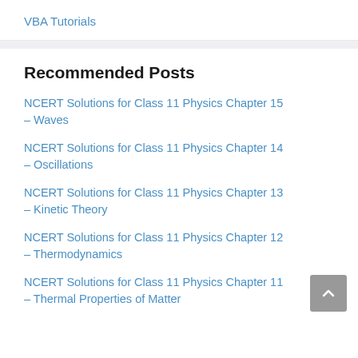VBA Tutorials
Recommended Posts
NCERT Solutions for Class 11 Physics Chapter 15 – Waves
NCERT Solutions for Class 11 Physics Chapter 14 – Oscillations
NCERT Solutions for Class 11 Physics Chapter 13 – Kinetic Theory
NCERT Solutions for Class 11 Physics Chapter 12 – Thermodynamics
NCERT Solutions for Class 11 Physics Chapter 11 – Thermal Properties of Matter